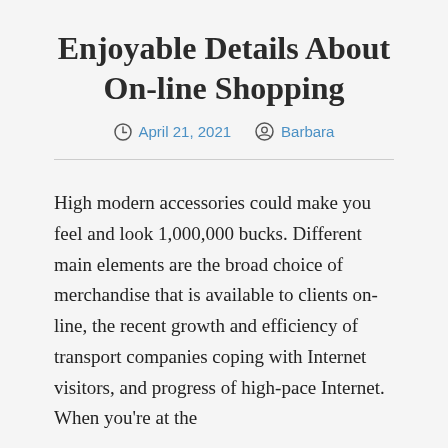Enjoyable Details About On-line Shopping
April 21, 2021   Barbara
High modern accessories could make you feel and look 1,000,000 bucks. Different main elements are the broad choice of merchandise that is available to clients on-line, the recent growth and efficiency of transport companies coping with Internet visitors, and progress of high-pace Internet. When you're at the